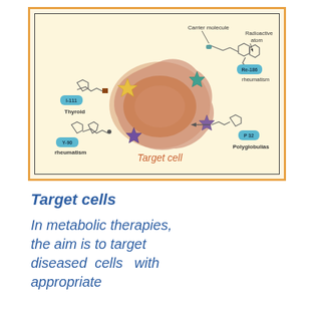[Figure (schematic): Medical diagram showing targeted metabolic therapy. A central 'Target cell' (large irregular brownish cell) is surrounded by carrier molecules attached to radioactive atoms. Labels around the cell indicate: top-right: 'Carrier molecule' and 'Radioactive atom' with 'Re-186 rheumatism'; left: 'I-111 Thyroid'; bottom-left: 'Y-90 rheumatism'; bottom-right: 'P 32 Polyglobulias'. Various colored receptor molecules (teal, yellow, purple) are shown on the cell surface.]
Target cells
In metabolic therapies, the aim is to target diseased cells with appropriate